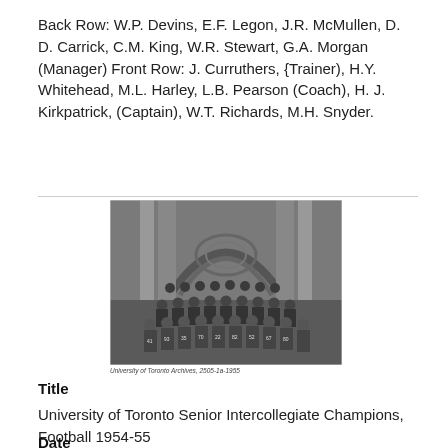Back Row: W.P. Devins, E.F. Legon, J.R. McMullen, D. D. Carrick, C.M. King, W.R. Stewart, G.A. Morgan (Manager) Front Row: J. Curruthers, {Trainer), H.Y. Whitehead, M.L. Harley, L.B. Pearson (Coach), H. J. Kirkpatrick, (Captain), W.T. Richards, M.H. Snyder.
[Figure (photo): Black and white group photograph of the University of Toronto Senior Intercollegiate football team, 1954-55, posed in rows in front of an arched architectural backdrop. Players wearing numbered jerseys are visible in multiple rows.]
University of Toronto Archives, 2505-1a-1955
Title
University of Toronto Senior Intercollegiate Champions, Football 1954-55
Date